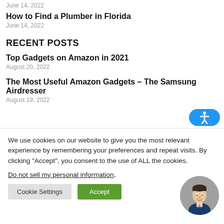June 14, 2022
How to Find a Plumber in Florida
June 14, 2022
RECENT POSTS
Top Gadgets on Amazon in 2021
August 20, 2022
The Most Useful Amazon Gadgets – The Samsung Airdresser
August 19, 2022
The Most Useful Amazon Gadgets – The Samsung Airdresse
We use cookies on our website to give you the most relevant experience by remembering your preferences and repeat visits. By clicking “Accept”, you consent to the use of ALL the cookies.
Do not sell my personal information.
Cookie Settings
Accept